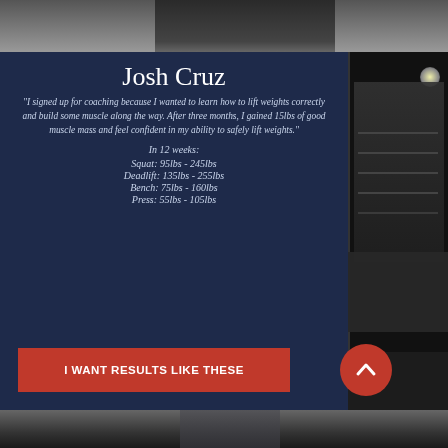[Figure (photo): Top photo strip showing gym/person legs]
Josh Cruz
"I signed up for coaching because I wanted to learn how to lift weights correctly and build some muscle along the way. After three months, I gained 15lbs of good muscle mass and feel confident in my ability to safely lift weights."
In 12 weeks:
Squat: 95lbs - 245lbs
Deadlift: 135lbs - 255lbs
Bench: 75lbs - 160lbs
Press: 55lbs - 105lbs
I WANT RESULTS LIKE THESE
[Figure (photo): Right side gym interior photo with barbells]
[Figure (photo): Bottom photo strip showing person in gym]